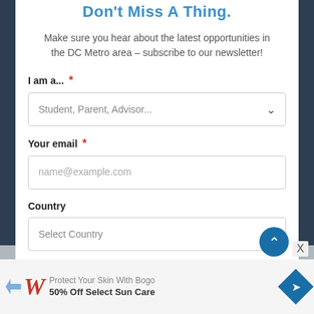Don't Miss A Thing.
Make sure you hear about the latest opportunities in the DC Metro area – subscribe to our newsletter!
I am a... *
Student, Parent, Advisor...
Your email *
name@example.com
Country
Select Country
Detect Country
[Figure (screenshot): Advertisement banner: Walgreens ad with 'Protect Your Skin With Bogo 50% Off Select Sun Care']